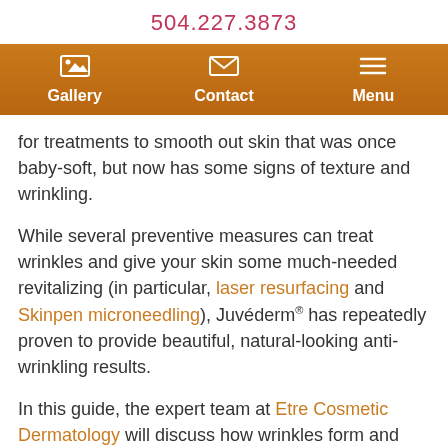504.227.3873
[Figure (screenshot): Navigation bar with orange/brown gradient background showing Gallery (image icon), Contact (envelope icon), and Menu (hamburger icon) items in white bold text]
for treatments to smooth out skin that was once baby-soft, but now has some signs of texture and wrinkling.
While several preventive measures can treat wrinkles and give your skin some much-needed revitalizing (in particular, laser resurfacing and Skinpen microneedling), Juvéderm® has repeatedly proven to provide beautiful, natural-looking anti-wrinkling results.
In this guide, the expert team at Etre Cosmetic Dermatology will discuss how wrinkles form and